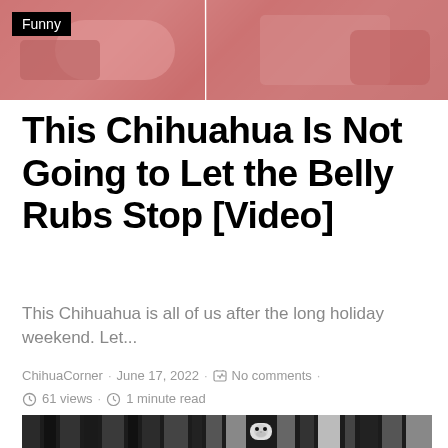[Figure (photo): Top banner photo showing a person getting belly rubs, split into two panels, with a 'Funny' category badge overlay]
This Chihuahua Is Not Going to Let the Belly Rubs Stop [Video]
This Chihuahua is all of us after the long holiday weekend. Let...
ChihuaCorner · June 17, 2022 · No comments · 61 views · 1 minute read
[Figure (photo): Black and white photo of a small chihuahua peeking through vertical blinds or slats]